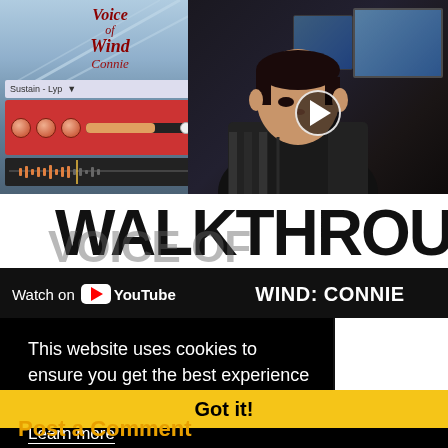[Figure (screenshot): YouTube video thumbnail/embed showing a music plugin (Voice of Wind: Connie) on the left with a keyboard interface, and a person sitting at a studio workstation on the right. A play button is centered on the right half.]
WALKTHROUGH
Watch on YouTube  VOICE OF WIND: CONNIE
This website uses cookies to ensure you get the best experience on our website.
Learn more
Got it!
Post a Comment